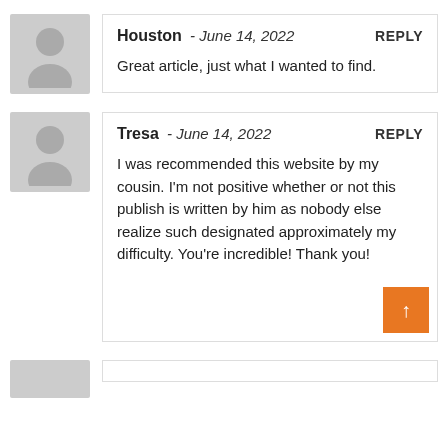[Figure (illustration): Gray avatar silhouette for user Houston]
Houston - June 14, 2022   REPLY
Great article, just what I wanted to find.
[Figure (illustration): Gray avatar silhouette for user Tresa]
Tresa - June 14, 2022   REPLY
I was recommended this website by my cousin. I'm not positive whether or not this publish is written by him as nobody else realize such designated approximately my difficulty. You're incredible! Thank you!
[Figure (illustration): Gray avatar silhouette for third user (partially visible)]